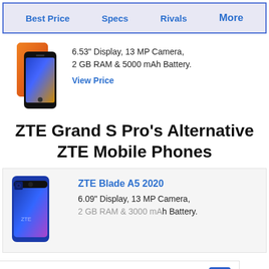Best Price | Specs | Rivals | More
[Figure (photo): Two smartphones shown side by side with orange/red gradient backs]
6.53" Display, 13 MP Camera, 2 GB RAM & 5000 mAh Battery.
View Price
ZTE Grand S Pro's Alternative ZTE Mobile Phones
[Figure (photo): ZTE Blade A5 2020 blue smartphone]
ZTE Blade A5 2020
6.09" Display, 13 MP Camera, 2 GB RAM & 3000 mAh Battery.
Hundreds of Items In Stock Furniture Max